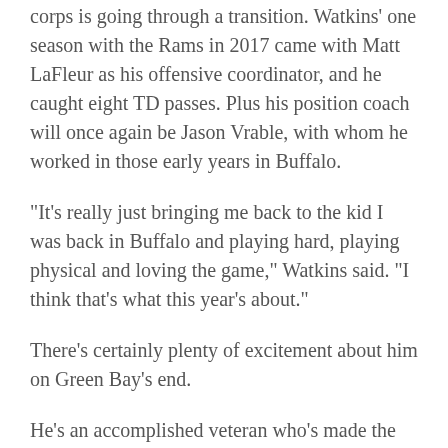corps is going through a transition. Watkins' one season with the Rams in 2017 came with Matt LaFleur as his offensive coordinator, and he caught eight TD passes. Plus his position coach will once again be Jason Vrable, with whom he worked in those early years in Buffalo.
"It's really just bringing me back to the kid I was back in Buffalo and playing hard, playing physical and loving the game," Watkins said. "I think that's what this year's about."
There's certainly plenty of excitement about him on Green Bay's end.
He's an accomplished veteran who's made the transition to new teams before, and he's produced under the brightest lights of the playoffs. Over five
[Figure (other): Social sharing icons: Facebook, Twitter, Email, Link]